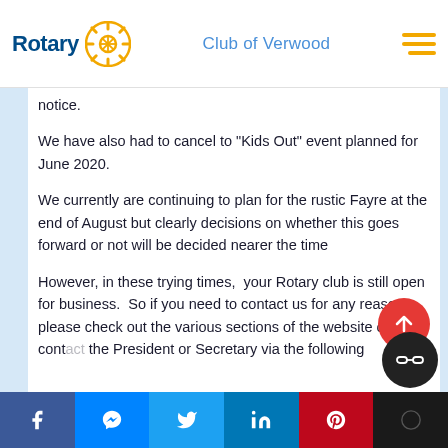Rotary Club of Verwood
notice.
We have also had to cancel to "Kids Out" event planned for June 2020.
We currently are continuing to plan for the rustic Fayre at the end of August but clearly decisions on whether this goes forward or not will be decided nearer the time
However, in these trying times,  your Rotary club is still open for business.  So if you need to contact us for any reason please check out the various sections of the website or contact the President or Secretary via the following
Social share bar: Facebook, Messenger, Twitter, LinkedIn, Pinterest